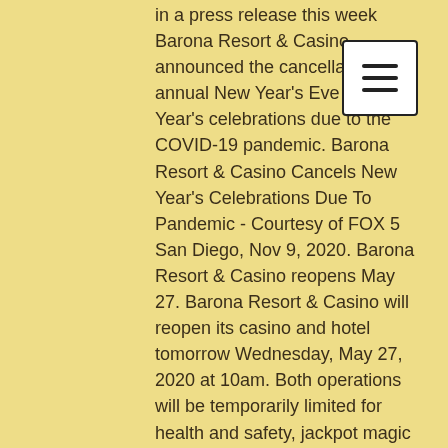in a press release this week Barona Resort & Casino announced the cancellation annual New Year's Eve and New Year's celebrations due to the COVID-19 pandemic. Barona Resort & Casino Cancels New Year's Celebrations Due To Pandemic - Courtesy of FOX 5 San Diego, Nov 9, 2020. Barona Resort & Casino reopens May 27. Barona Resort & Casino will reopen its casino and hotel tomorrow Wednesday, May 27, 2020 at 10am. Both operations will be temporarily limited for health and safety, jackpot magic slots tips.
Mobile friendly Huge variety of casino games 150 Free Spins No Deposit 24 progressive Jackpots, jackpot magic slots tips.
You can easily make a deposit of $10 minimum and $5,000 maximum via Visa, Mastercard, American Express, Bitcoin, Bitcoin Cash. All deposit requests are processed instantly, so you can head to your favorite games and play for real money right